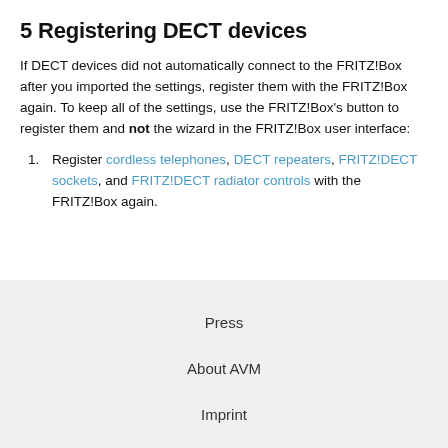5 Registering DECT devices
If DECT devices did not automatically connect to the FRITZ!Box after you imported the settings, register them with the FRITZ!Box again. To keep all of the settings, use the FRITZ!Box's button to register them and not the wizard in the FRITZ!Box user interface:
Register cordless telephones, DECT repeaters, FRITZ!DECT sockets, and FRITZ!DECT radiator controls with the FRITZ!Box again.
Press
About AVM
Imprint